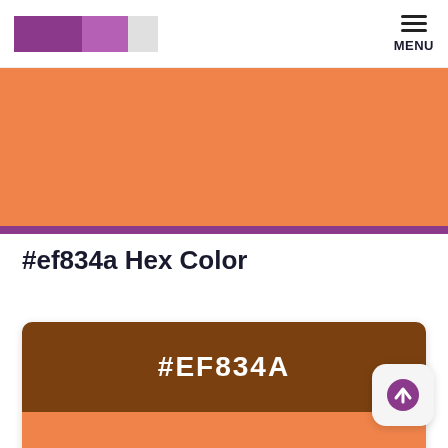[Figure (screenshot): Website header with purple/violet color swatches logo and MENU hamburger button on the right]
[Figure (other): Orange color banner (#ef834a) displayed as a large rectangular swatch]
#ef834a Hex Color
[Figure (other): Color card showing #EF834A hex code label on dark brown background, below which is the orange color swatch (#ef834a)]